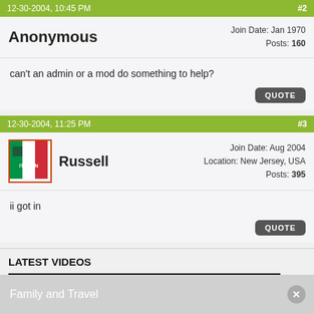12-30-2004, 10:45 PM   #2
Anonymous
Join Date: Jan 1970
Posts: 160
can't an admin or a mod do something to help?
QUOTE
12-30-2004, 11:25 PM   #3
Russell
Join Date: Aug 2004
Location: New Jersey, USA
Posts: 395
ii got in
QUOTE
LATEST VIDEOS
[Figure (screenshot): Video thumbnail black bar]
Family and Travel